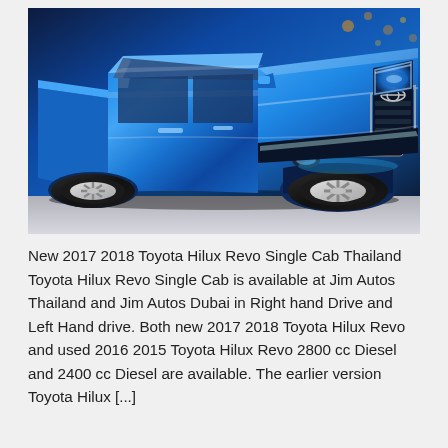[Figure (photo): A shiny blue Toyota Hilux Revo pickup truck photographed at a motor show, shown from a front three-quarter angle against a dark background with the 'Revo' badge visible on the front bumper.]
New 2017 2018 Toyota Hilux Revo Single Cab Thailand Toyota Hilux Revo Single Cab is available at Jim Autos Thailand and Jim Autos Dubai in Right hand Drive and Left Hand drive. Both new 2017 2018 Toyota Hilux Revo and used 2016 2015 Toyota Hilux Revo 2800 cc Diesel and 2400 cc Diesel are available. The earlier version Toyota Hilux [...]